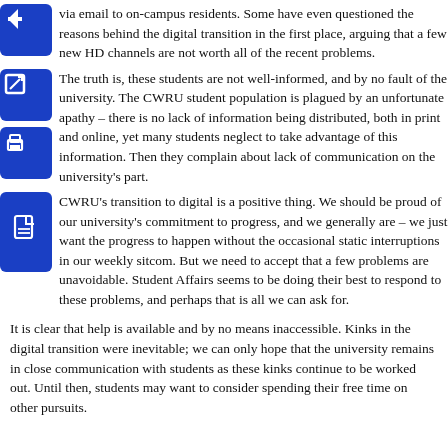via email to on-campus residents. Some have even questioned the reasons behind the digital transition in the first place, arguing that a few new HD channels are not worth all of the recent problems.
The truth is, these students are not well-informed, and by no fault of the university. The CWRU student population is plagued by an unfortunate apathy – there is no lack of information being distributed, both in print and online, yet many students neglect to take advantage of this information. Then they complain about lack of communication on the university's part.
CWRU's transition to digital is a positive thing. We should be proud of our university's commitment to progress, and we generally are – we just want the progress to happen without the occasional static interruptions in our weekly sitcom. But we need to accept that a few problems are unavoidable. Student Affairs seems to be doing their best to respond to these problems, and perhaps that is all we can ask for.
It is clear that help is available and by no means inaccessible. Kinks in the digital transition were inevitable; we can only hope that the university remains in close communication with students as these kinks continue to be worked out. Until then, students may want to consider spending their free time on other pursuits.